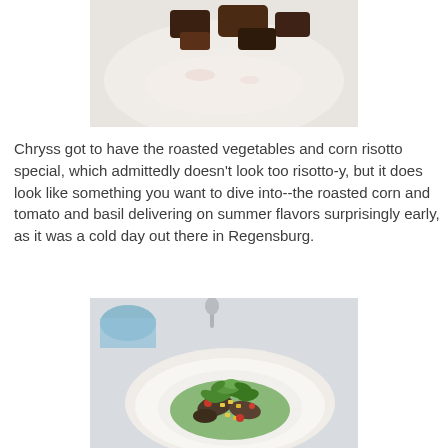[Figure (photo): Top portion of a white plate with roasted dark-colored food pieces on a white background, partially cropped]
Chryss got to have the roasted vegetables and corn risotto special, which admittedly doesn't look too risotto-y, but it does look like something you want to dive into--the roasted corn and tomato and basil delivering on summer flavors surprisingly early, as it was a cold day out there in Regensburg.
[Figure (photo): White bowl on a restaurant table containing a colorful dish with roasted vegetables, corn, tomatoes, and fresh green herbs/arugula on top, with a green sauce base; blue glass and silverware visible in background]